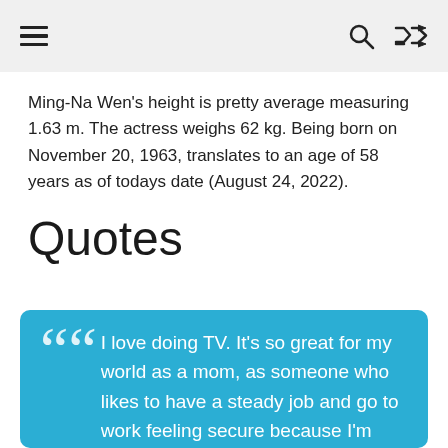≡  🔍  ⇄
Ming-Na Wen's height is pretty average measuring 1.63 m. The actress weighs 62 kg. Being born on November 20, 1963, translates to an age of 58 years as of todays date (August 24, 2022).
Quotes
I love doing TV. It's so great for my world as a mom, as someone who likes to have a steady job and go to work feeling secure because I'm with a family. — Ming-Na Wen